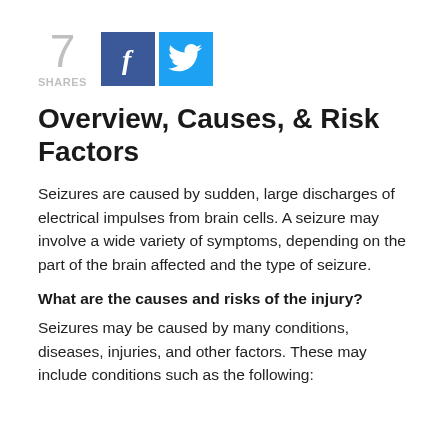[Figure (infographic): Social share count showing '7 SHARES' in grey, a dark blue Facebook button with 'f' icon, and a light blue Twitter button with bird icon]
Overview, Causes, & Risk Factors
Seizures are caused by sudden, large discharges of electrical impulses from brain cells. A seizure may involve a wide variety of symptoms, depending on the part of the brain affected and the type of seizure.
What are the causes and risks of the injury?
Seizures may be caused by many conditions, diseases, injuries, and other factors. These may include conditions such as the following: